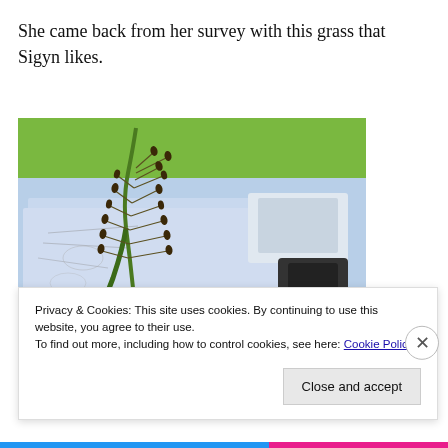She came back from her survey with this grass that Sigyn likes.
[Figure (photo): A grass plant specimen with small dark seeds on branching stems, laid on top of botanical illustration papers on a table, with green grass visible in background.]
Privacy & Cookies: This site uses cookies. By continuing to use this website, you agree to their use.
To find out more, including how to control cookies, see here: Cookie Policy
Close and accept